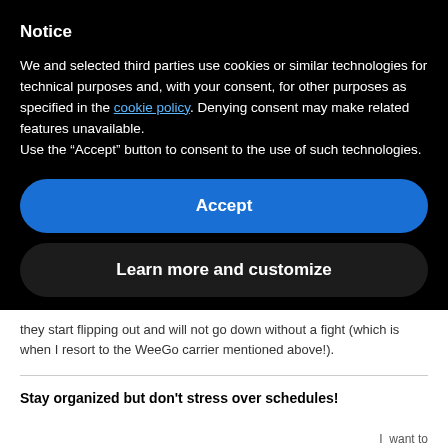Notice
We and selected third parties use cookies or similar technologies for technical purposes and, with your consent, for other purposes as specified in the cookie policy. Denying consent may make related features unavailable.
Use the “Accept” button to consent to the use of such technologies.
Accept
Learn more and customize
they start flipping out and will not go down without a fight (which is when I resort to the WeeGo carrier mentioned above!).
Stay organized but don’t stress over schedules!
I want to